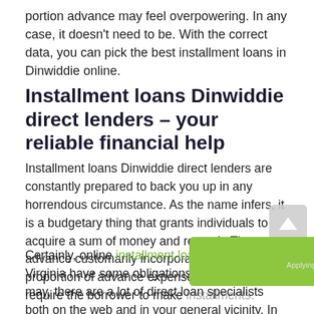portion advance may feel overpowering. In any case, it doesn't need to be. With the correct data, you can pick the best installment loans in Dinwiddie online.
Installment loans Dinwiddie direct lenders – your reliable financial help
Installment loans Dinwiddie direct lenders are constantly prepared to back you up in any horrendous circumstance. As the name infers, it is a budgetary thing that grants individuals to acquire a sum of money and repay it. The advance customarily incorporates a fixed proportion of advance expenses and would require the borrower to make installments.
Certainly, online installment loans Dinwiddie in Virginia have some obligations. Be that as it may, there are a lot of direct loan specialists both on the web and in your general vicinity. In this manner, you can locate the low-interest